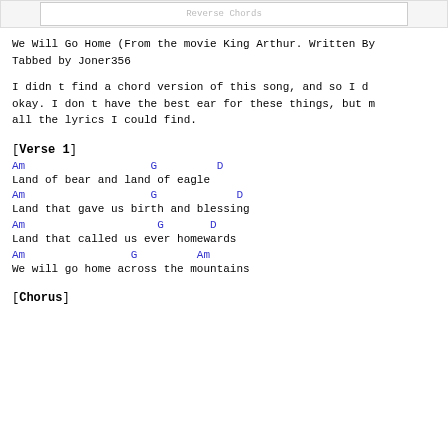[Figure (screenshot): Top bar with a white input/search box element inside a light gray container]
We Will Go Home (From the movie King Arthur. Written By
Tabbed by Joner356
I didn t find a chord version of this song, and so I d
okay. I don t have the best ear for these things, but m
all the lyrics I could find.
[Verse 1]
Am                   G         D
Land of bear and land of eagle
Am                   G            D
Land that gave us birth and blessing
Am                    G       D
Land that called us ever homewards
Am                G         Am
We will go home across the mountains
[Chorus]